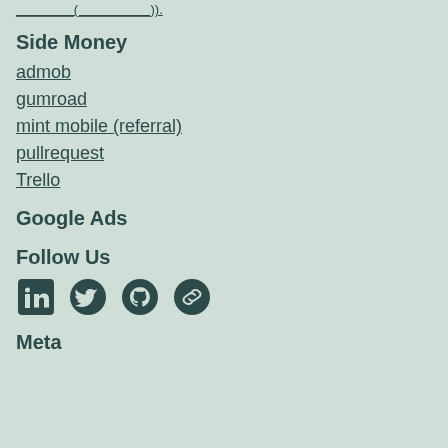________(__________)).
Side Money
admob
gumroad
mint mobile (referral)
pullrequest
Trello
Google Ads
Follow Us
[Figure (infographic): Social media icons: LinkedIn, Twitter, GitHub, and a link icon]
Meta